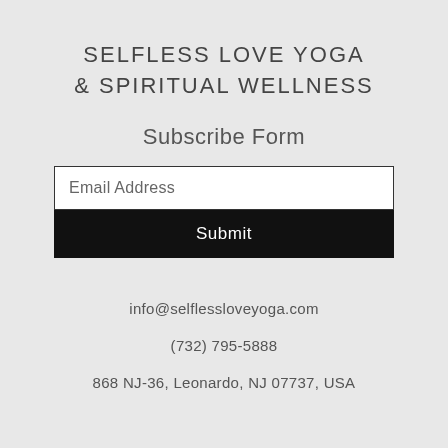SELFLESS LOVE YOGA & SPIRITUAL WELLNESS
Subscribe Form
Email Address
Submit
info@selflessloveyoga.com
(732) 795-5888
868 NJ-36, Leonardo, NJ 07737, USA